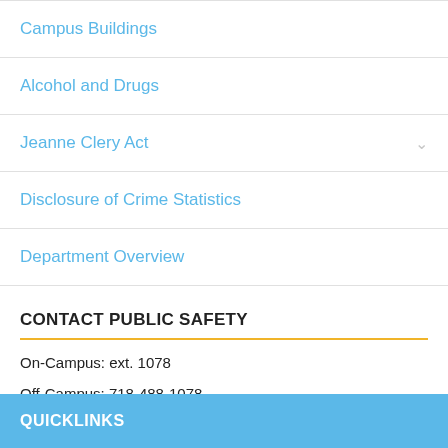Campus Buildings
Alcohol and Drugs
Jeanne Clery Act
Disclosure of Crime Statistics
Department Overview
CONTACT PUBLIC SAFETY
On-Campus: ext. 1078
Off-Campus: 718-488-1078
QUICKLINKS